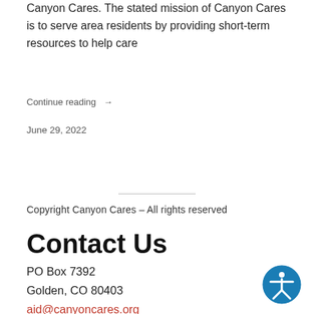Canyon Cares. The stated mission of Canyon Cares is to serve area residents by providing short-term resources to help care
Continue reading →
June 29, 2022
Copyright Canyon Cares – All rights reserved
Contact Us
PO Box 7392
Golden, CO 80403
aid@canyoncares.org
720-515-1129
Tax ID number: